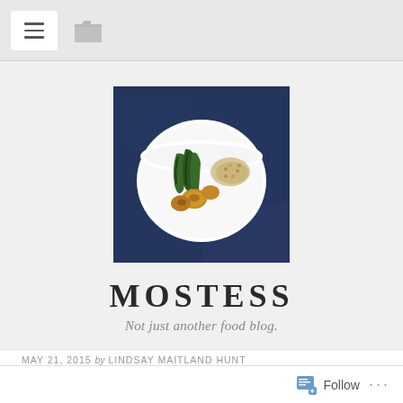Navigation bar with hamburger menu and folder icon
[Figure (photo): Food blog logo photo: a white bowl containing roasted vegetables (potatoes, green beans/broccolini) with grains, on a dark blue cloth background]
MOSTESS
Not just another food blog.
MAY 21, 2015 by LINDSAY MAITLAND HUNT
Raw Spring Salad
Follow ...